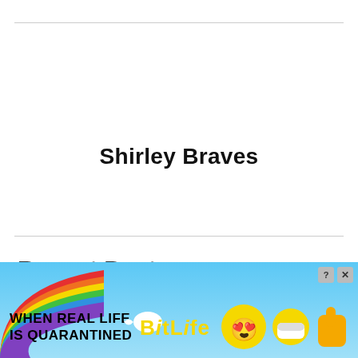Shirley Braves
Recent Posts
[Figure (photo): Partial photo strip showing top of a person's head with dark hair, outdoors background]
[Figure (screenshot): BitLife advertisement banner. Text reads: WHEN REAL LIFE IS QUARANTINED with BitLife logo and mascot emoji characters. Rainbow stripe on left side. Close button top right.]